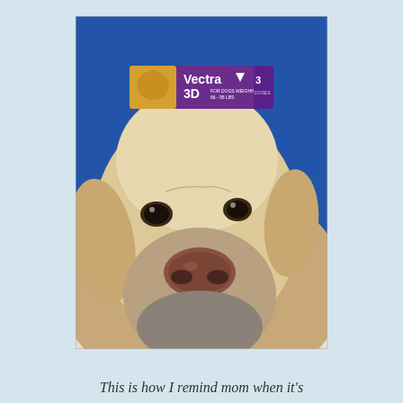[Figure (photo): A close-up photo of a yellow Labrador Retriever dog looking at the camera with sad eyes, resting its chin down. On the dog's head/forehead is balanced a box of Vectra 3D flea/tick prevention product (purple box with gold labrador image). Background is blue.]
This is how I remind mom when it's